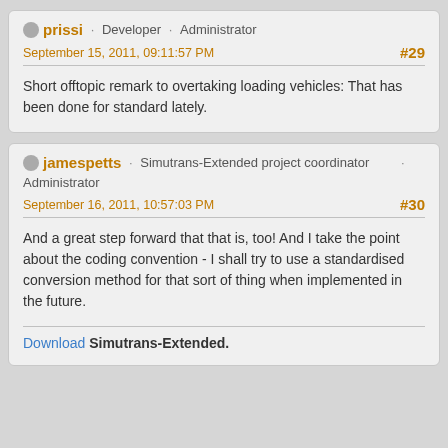prissi · Developer · Administrator
September 15, 2011, 09:11:57 PM
#29
Short offtopic remark to overtaking loading vehicles: That has been done for standard lately.
jamespetts · Simutrans-Extended project coordinator · Administrator
September 16, 2011, 10:57:03 PM
#30
And a great step forward that that is, too! And I take the point about the coding convention - I shall try to use a standardised conversion method for that sort of thing when implemented in the future.
Download Simutrans-Extended.